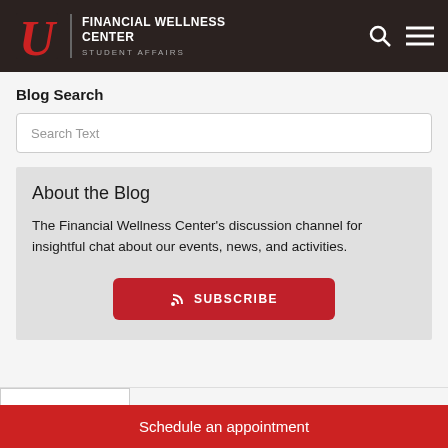FINANCIAL WELLNESS CENTER | STUDENT AFFAIRS
Blog Search
Search Text
About the Blog
The Financial Wellness Center's discussion channel for insightful chat about our events, news, and activities.
SUBSCRIBE
Schedule an appointment